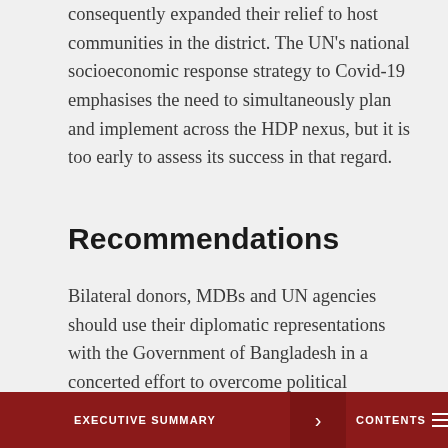consequently expanded their relief to host communities in the district. The UN's national socioeconomic response strategy to Covid-19 emphasises the need to simultaneously plan and implement across the HDP nexus, but it is too early to assess its success in that regard.
Recommendations
Bilateral donors, MDBs and UN agencies should use their diplomatic representations with the Government of Bangladesh in a concerted effort to overcome political obstacles to achieving sustainable solutions to the Rohingya refugee crisis. Especially now, as safe and dignified repatriat…
EXECUTIVE SUMMARY   >   CONTENTS